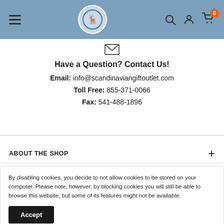Navigation bar with hamburger menu, logo, search, account, and cart icons
[Figure (screenshot): Email icon (envelope outline)]
Have a Question? Contact Us!
Email: info@scandinaviangiftoutlet.com
Toll Free: 855-371-0066
Fax: 541-488-1896
ABOUT THE SHOP
By disabling cookies, you decide to not allow cookies to be stored on your computer. Please note, however, by blocking cookies you will still be able to browse this website, but some of its features might not be available.
Accept
Receive the inside scoop on great deals and information on all